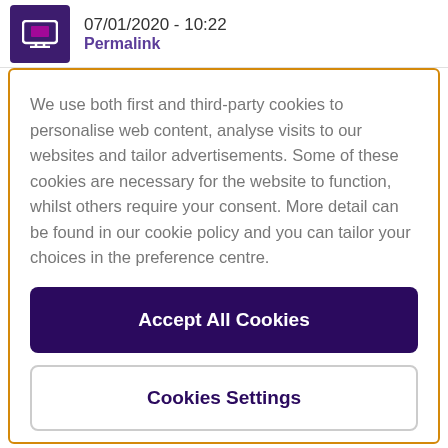07/01/2020 - 10:22
Permalink
We use both first and third-party cookies to personalise web content, analyse visits to our websites and tailor advertisements. Some of these cookies are necessary for the website to function, whilst others require your consent. More detail can be found in our cookie policy and you can tailor your choices in the preference centre.
Accept All Cookies
Cookies Settings